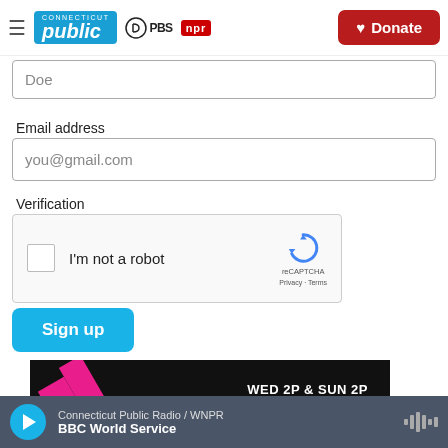Connecticut Public PBS NPR | Donate
Doe
Email address
you@gmail.com
Verification
[Figure (other): reCAPTCHA widget with checkbox labeled I'm not a robot]
Sign up
[Figure (other): Dark promotional banner with text WED 2P & SUN 2P / LISTEN / STREAM and pink diagonal stripes]
Connecticut Public Radio / WNPR | BBC World Service